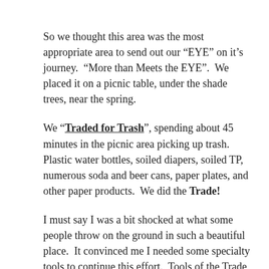So we thought this area was the most appropriate area to send out our “EYE” on it's journey.  “More than Meets the EYE”.  We placed it on a picnic table, under the shade trees, near the spring.
We “Traded for Trash”, spending about 45 minutes in the picnic area picking up trash.  Plastic water bottles, soiled diapers, soiled TP, numerous soda and beer cans, paper plates, and other paper products.  We did the Trade!
I must say I was a bit shocked at what some people throw on the ground in such a beautiful place.  It convinced me I needed some specialty tools to continue this effort.  Tools of the Trade so to speak!